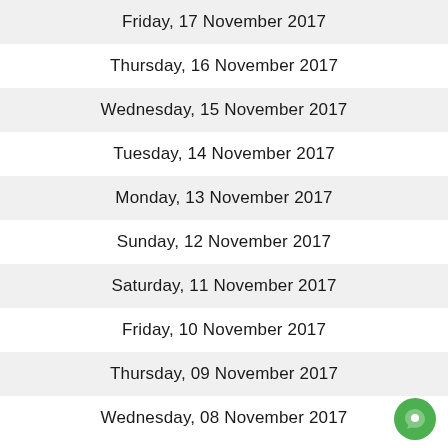Friday, 17 November 2017
Thursday, 16 November 2017
Wednesday, 15 November 2017
Tuesday, 14 November 2017
Monday, 13 November 2017
Sunday, 12 November 2017
Saturday, 11 November 2017
Friday, 10 November 2017
Thursday, 09 November 2017
Wednesday, 08 November 2017